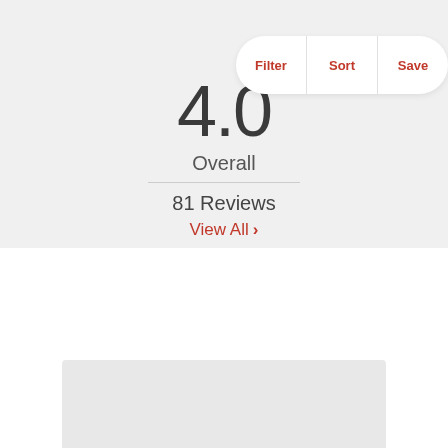Filter | Sort | Save
4.0
Overall
81 Reviews
View All ›